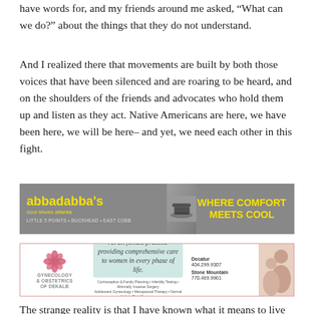have words for, and my friends around me asked, “What can we do?” about the things that they do not understand.
And I realized there that movements are built by both those voices that have been silenced and are roaring to be heard, and on the shoulders of the friends and advocates who hold them up and listen as they act. Native Americans are here, we have been here, we will be here– and yet, we need each other in this fight.
[Figure (other): Advertisement for Abbadabba's cool shoes atlanta with tagline WHERE COMFORT MEETS COOL, locations: Little 5 Points, Buckhead, East Cobb]
[Figure (other): Advertisement for Gynecology & Obstetrics of DeKalb - an all female practice providing comprehensive care to women in every phase of life. Decatur 404.299.9307, Stone Mountain 770.469.9961]
The strange reality is that I have known what it means to live